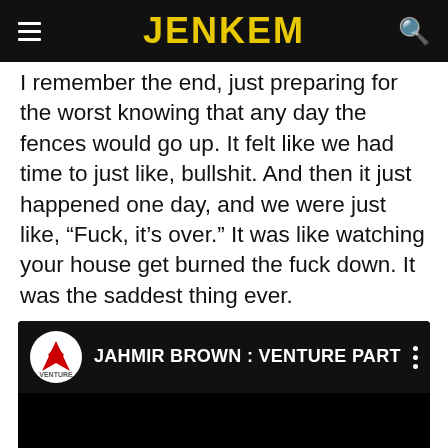JENKEM
I remember the end, just preparing for the worst knowing that any day the fences would go up. It felt like we had time to just like, bullshit. And then it just happened one day, and we were just like, “Fuck, it’s over.” It was like watching your house get burned the fuck down. It was the saddest thing ever.
[Figure (screenshot): Embedded YouTube video player showing 'JAHMIR BROWN : VENTURE PART' with Venture skateboard logo on black background]